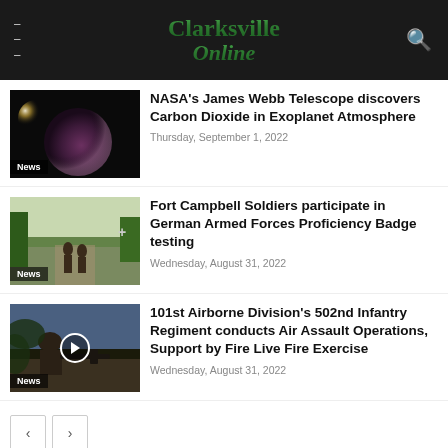Clarksville Online
[Figure (photo): Dark space image showing a planet or celestial body with light source behind it, labeled News]
NASA's James Webb Telescope discovers Carbon Dioxide in Exoplanet Atmosphere
Thursday, September 1, 2022
[Figure (photo): Soldiers running on a path outdoors, labeled News]
Fort Campbell Soldiers participate in German Armed Forces Proficiency Badge testing
Wednesday, August 31, 2022
[Figure (photo): Military soldier with equipment, video thumbnail with play button, labeled News]
101st Airborne Division's 502nd Infantry Regiment conducts Air Assault Operations, Support by Fire Live Fire Exercise
Wednesday, August 31, 2022